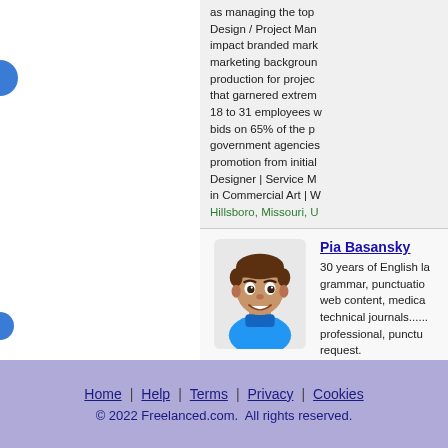as managing the top Design / Project Management impact branded marketing background production for projects that garnered extreme 18 to 31 employees with bids on 65% of the project government agencies and promotion from initial Designer | Service Manager in Commercial Art | W
Hillsboro, Missouri, U
Pia Basansky
[Figure (illustration): Cartoon avatar of a man with brown hair wearing a blue turtleneck sweater, smiling]
30 years of English language grammar, punctuation web content, medical technical journals...... professional, punctual request.
Toronto, Ontario, Ca
Home | Help | Terms | Privacy | Cookies
© 2022 Freelanced.com. All rights reserved.